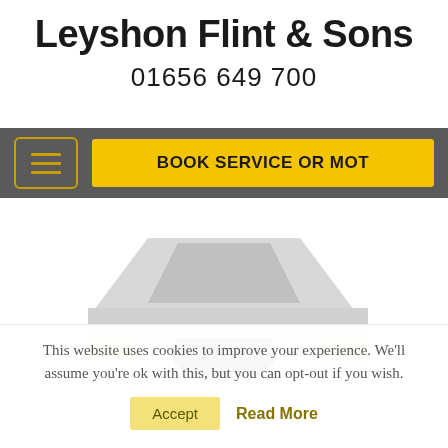Leyshon Flint & Sons
01656 649 700
[Figure (screenshot): Navigation bar with hamburger menu icon and yellow 'BOOK SERVICE OR MOT' button on dark grey background]
[Figure (illustration): Partial illustration of a car (roof and wheels visible) in grey and yellow colors on white background]
This website uses cookies to improve your experience. We'll assume you're ok with this, but you can opt-out if you wish.
Accept   Read More